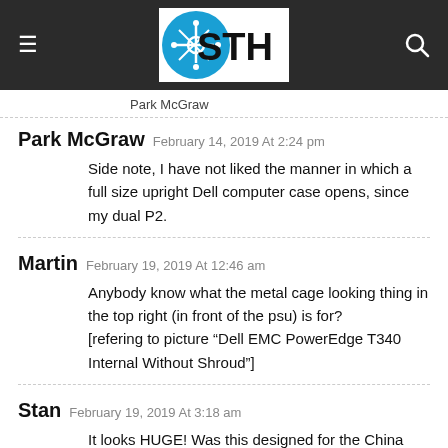[Figure (logo): STH (ServeTheHome) website header with dark background, hamburger menu icon on left, STH logo in center (blue circle with circuit board icon and STH text), search icon on right]
Park McGraw
Park McGraw  February 14, 2019 At 2:24 pm
Side note, I have not liked the manner in which a full size upright Dell computer case opens, since my dual P2.
Martin  February 19, 2019 At 12:46 am
Anybody know what the metal cage looking thing in the top right (in front of the psu) is for?
[refering to picture “Dell EMC PowerEdge T340 Internal Without Shroud”]
Stan  February 19, 2019 At 3:18 am
It looks HUGE! Was this designed for the China market where they like everything big? The cable routing is a